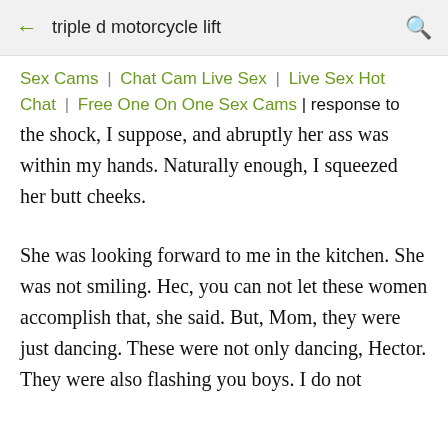triple d motorcycle lift
Sex Cams | Chat Cam Live Sex | Live Sex Hot Chat | Free One On One Sex Cams | response to the shock, I suppose, and abruptly her ass was within my hands. Naturally enough, I squeezed her butt cheeks.
She was looking forward to me in the kitchen. She was not smiling. Hec, you can not let these women accomplish that, she said. But, Mom, they were just dancing. These were not only dancing, Hector. They were also flashing you boys. I do not